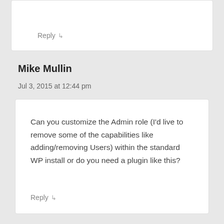Reply ↳
Mike Mullin
Jul 3, 2015 at 12:44 pm
Can you customize the Admin role (I'd live to remove some of the capabilities like adding/removing Users) within the standard WP install or do you need a plugin like this?
Reply ↳